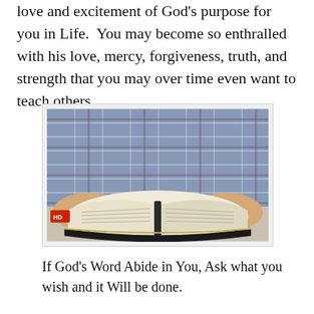love and excitement of God's purpose for you in Life.  You may become so enthralled with his love, mercy, forgiveness, truth, and strength that you may over time even want to teach others.
[Figure (photo): Person in plaid shirt holding an open Bible with both hands]
If God's Word Abide in You, Ask what you wish and it Will be done.